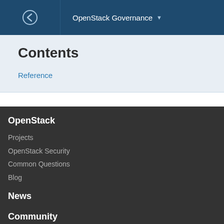OpenStack Governance
Contents
Reference
OpenStack
Projects
OpenStack Security
Common Questions
Blog
News
Community